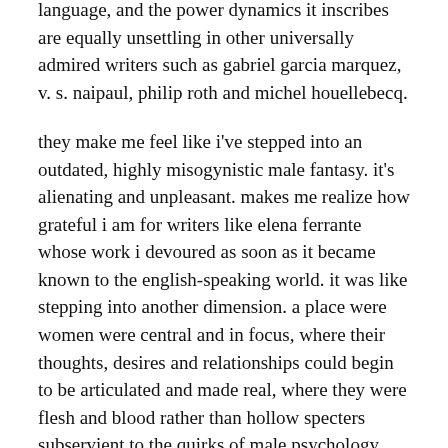language, and the power dynamics it inscribes are equally unsettling in other universally admired writers such as gabriel garcia marquez, v. s. naipaul, philip roth and michel houellebecq.
they make me feel like i've stepped into an outdated, highly misogynistic male fantasy. it's alienating and unpleasant. makes me realize how grateful i am for writers like elena ferrante whose work i devoured as soon as it became known to the english-speaking world. it was like stepping into another dimension. a place were women were central and in focus, where their thoughts, desires and relationships could begin to be articulated and made real, where they were flesh and blood rather than hollow specters subservient to the quirks of male psychology and anatomy.
to women writers and an alternative literary canon.